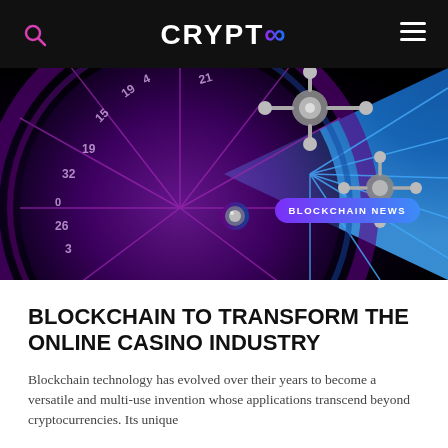CRYPTOS
[Figure (photo): Close-up of a glowing digital roulette wheel with purple and blue gradient lighting, showing numbers and the wheel spokes.]
BLOCKCHAIN NEWS
BLOCKCHAIN TO TRANSFORM THE ONLINE CASINO INDUSTRY
Blockchain technology has evolved over their years to become a versatile and multi-use invention whose applications transcend beyond cryptocurrencies. Its unique